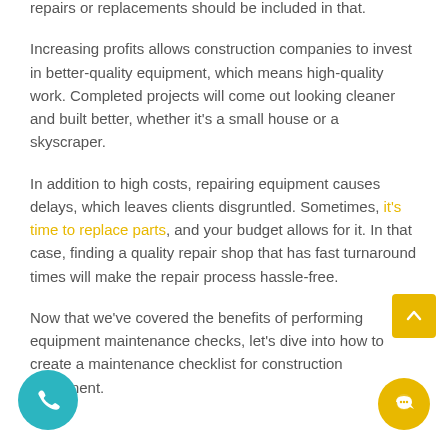repairs or replacements should be included in that.
Increasing profits allows construction companies to invest in better-quality equipment, which means high-quality work. Completed projects will come out looking cleaner and built better, whether it's a small house or a skyscraper.
In addition to high costs, repairing equipment causes delays, which leaves clients disgruntled. Sometimes, it's time to replace parts, and your budget allows for it. In that case, finding a quality repair shop that has fast turnaround times will make the repair process hassle-free.
Now that we've covered the benefits of performing equipment maintenance checks, let's dive into how to create a maintenance checklist for construction equipment.